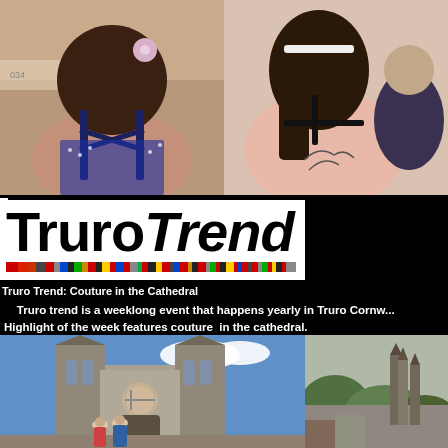[Figure (photo): Two photos side by side of women at a fashion event, showing their backs. Left photo: woman in a dark blue strappy dress with a floral hair accessory at a dining event. Right photo: woman with dark hair and a tattoo on her back wearing a black bra/top.]
[Figure (logo): Truro Trend logo — 'Truro' in bold black sans-serif, 'Trend' in bold black italic, with a multicolored striped bar beneath.]
Truro Trend: Couture in the Cathedral
Truro trend is a weeklong event that happens yearly in Truro Cornw... Highlight of the week features couture  in the cathedral.
[Figure (photo): Two photos side by side of Truro Cathedral. Left: frontal view of Gothic cathedral with two people standing in front under a blue sky. Right: side/distance view of the cathedral spires surrounded by trees and buildings.]